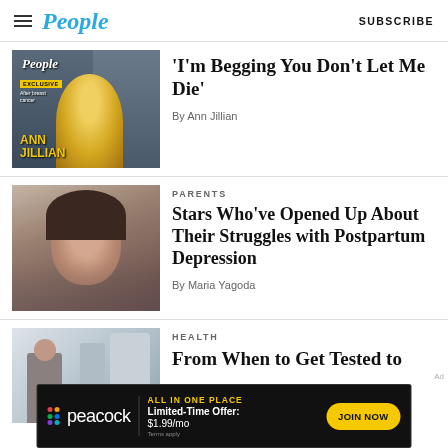People | SUBSCRIBE
[Figure (photo): People magazine cover with Ann Jillian, showing exclusive breast cancer story]
'I'm Begging You Don't Let Me Die'
By Ann Jillian
PARENTS
[Figure (photo): Young woman taking a selfie, brunette]
Stars Who've Opened Up About Their Struggles with Postpartum Depression
By Maria Yagoda
HEALTH
[Figure (photo): Medical office scene with people]
From When to Get Tested to
[Figure (other): Peacock streaming ad banner: ALL IN ONE PLACE, Limited-Time Offer: $1.99/mo, JOIN NOW]